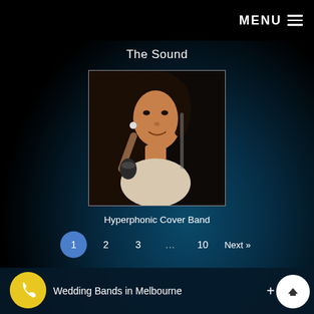MENU
The Sound
[Figure (photo): Female singer performing on stage, holding a microphone, wearing white top, long dark hair, dark background]
Hyperphonic Cover Band
1  2  3  ...  10  Next »
Wedding Bands in Melbourne